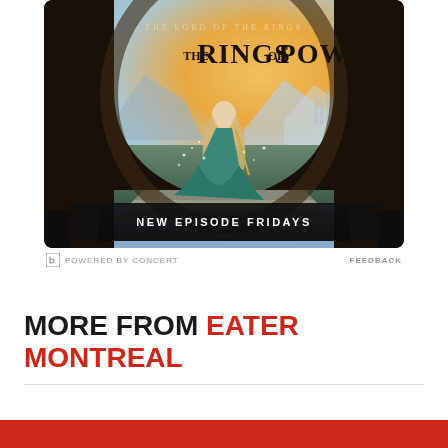[Figure (photo): Advertisement for 'The Lord of the Rings: The Rings of Power' on Amazon Prime Video. Shows a woman in a teal gown standing on stone steps against a fantasy landscape with mountains and a city in the background, framed by a stone arch. Text reads 'THE LORD OF THE RINGS / THE RINGS OF POWER / NEW EPISODE FRIDAYS'. Footer shows 'POWERED BY CONCERT' and 'FEEDBACK'.]
POWERED BY CONCERT    FEEDBACK
MORE FROM EATER MONTREAL